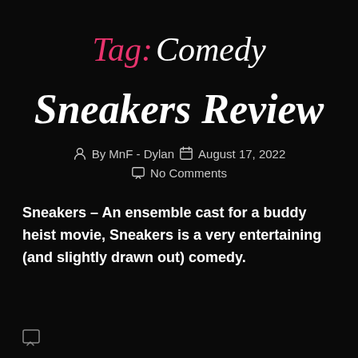Tag: Comedy
Sneakers Review
By MnF - Dylan   August 17, 2022   No Comments
Sneakers – An ensemble cast for a buddy heist movie, Sneakers is a very entertaining (and slightly drawn out) comedy.